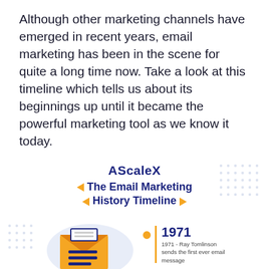Although other marketing channels have emerged in recent years, email marketing has been in the scene for quite a long time now. Take a look at this timeline which tells us about its beginnings up until it became the powerful marketing tool as we know it today.
[Figure (infographic): AScaleX logo with 'The Email Marketing History Timeline' title with orange arrows, decorative dot patterns, envelope illustration with orange/dark blue colors, 1971 timeline entry with orange vertical bar stating 'Ray Tomlinson sends the first ever email message', orange dot on timeline, and 1978 entry at bottom]